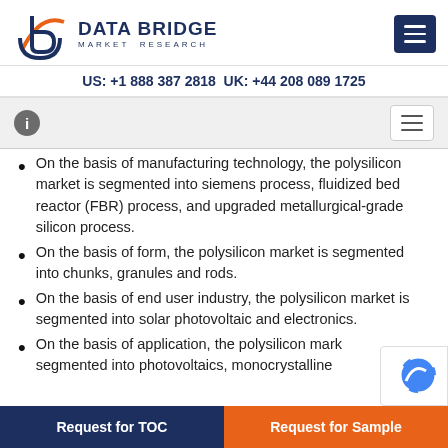DATA BRIDGE MARKET RESEARCH | US: +1 888 387 2818 UK: +44 208 089 1725
On the basis of manufacturing technology, the polysilicon market is segmented into siemens process, fluidized bed reactor (FBR) process, and upgraded metallurgical-grade silicon process.
On the basis of form, the polysilicon market is segmented into chunks, granules and rods.
On the basis of end user industry, the polysilicon market is segmented into solar photovoltaic and electronics.
On the basis of application, the polysilicon market is segmented into photovoltaics, monocrystalline